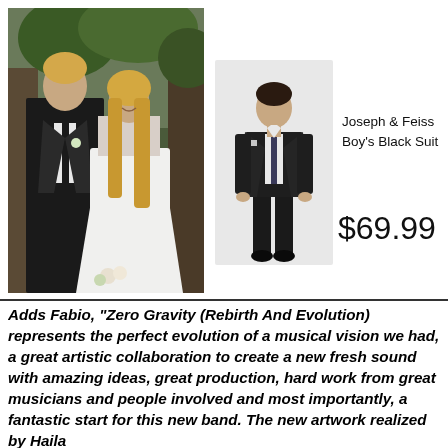[Figure (photo): A man in a dark suit and a woman in a white wedding dress standing together outdoors]
[Figure (photo): A boy wearing a Joseph & Feiss black suit, standing against a light background]
Joseph & Feiss
Boy's Black Suit
$69.99
Adds Fabio, “Zero Gravity (Rebirth And Evolution) represents the perfect evolution of a musical vision we had, a great artistic collaboration to create a new fresh sound with amazing ideas, great production, hard work from great musicians and people involved and most importantly, a fantastic start for this new band. The new artwork realized by Haila...